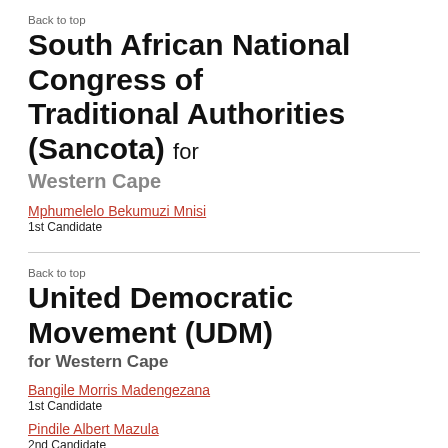Back to top
South African National Congress of Traditional Authorities (Sancota) for
Western Cape
Mphumelelo Bekumuzi Mnisi
1st Candidate
Back to top
United Democratic Movement (UDM)
for Western Cape
Bangile Morris Madengezana
1st Candidate
Pindile Albert Mazula
2nd Candidate